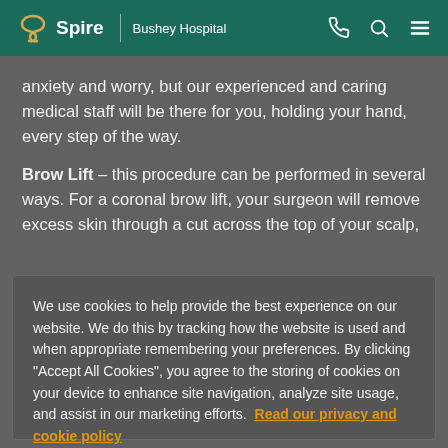Spire | Bushey Hospital
anxiety and worry, but our experienced and caring medical staff will be there for you, holding your hand, every step of the way.
Brow Lift – this procedure can be performed in several ways. For a coronal brow lift, your surgeon will remove excess skin through a cut across the top of your scalp,
We use cookies to help provide the best experience on our website. We do this by tracking how the website is used and when appropriate remembering your preferences. By clicking "Accept All Cookies", you agree to the storing of cookies on your device to enhance site navigation, analyze site usage, and assist in our marketing efforts. Read our privacy and cookie policy
Cookies Settings
Accept All Cookies